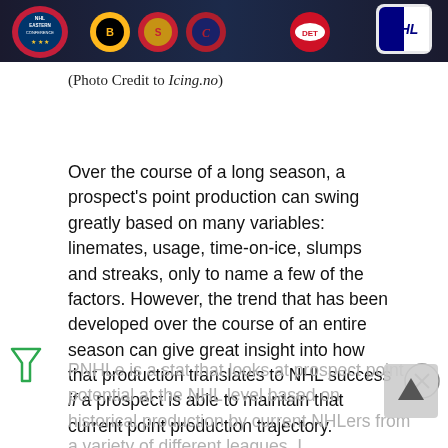[Figure (photo): NHL Eastern Conference and team logos banner image against dark background]
(Photo Credit to Icing.no)
Over the course of a long season, a prospect's point production can swing greatly based on many variables: linemates, usage, time-on-ice, slumps and streaks, only to name a few of the factors. However, the trend that has been developed over the course of an entire season can give great insight into how that production translates to NHL success if a prospect is able to maintain that current point production trajectory.
PNHLe is a stat that looks at prospect point potential at the NHL level based on historical production by current NHLers from a variety of different leagues. I